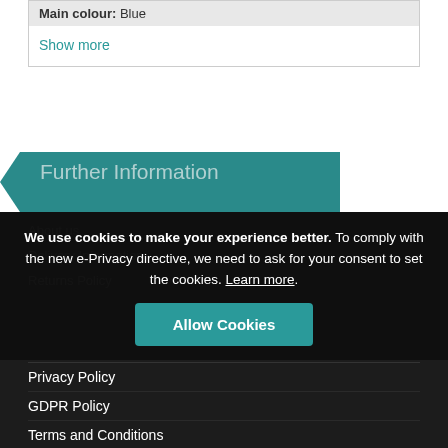Main colour: Blue
Show more
Further Information
We use cookies to make your experience better. To comply with the new e-Privacy directive, we need to ask for your consent to set the cookies. Learn more.
Allow Cookies
About us
Delivery Information
Returns Policy
Privacy Policy
GDPR Policy
Terms and Conditions
More Information
Reviews
Contact us